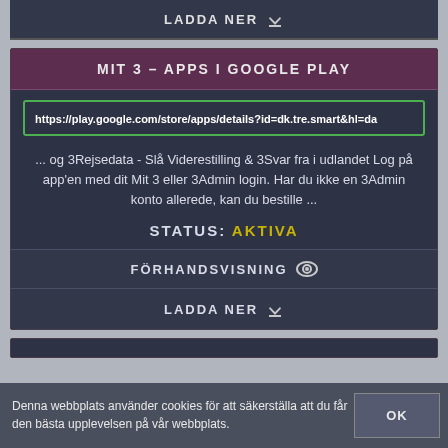LADDA NER
MIT 3 – APPS I GOOGLE PLAY
https://play.google.com/store/apps/details?id=dk.tre.smart&hl=da
... og 3Rejsedata - Slå Viderestilling & 3Svar fra i udlandet Log på app'en med dit Mit 3 eller 3Admin login. Har du ikke en 3Admin konto allerede, kan du bestille ...
STATUS: AKTIVA
FÖRHANDSVISNING
LADDA NER
Denna webbplats använder cookies för att säkerställa att du får den bästa upplevelsen på vår webbplats.
OK